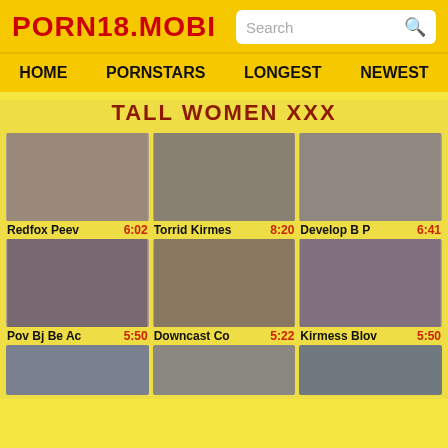PORN18.MOBI
HOME   PORNSTARS   LONGEST   NEWEST
TALL WOMEN XXX
[Figure (screenshot): Thumbnail image 1 - Redfox Peev]
Redfox Peev   6:02
[Figure (screenshot): Thumbnail image 2 - Torrid Kirmes]
Torrid Kirmes   8:20
[Figure (screenshot): Thumbnail image 3 - Develop B P]
Develop B P   6:41
[Figure (screenshot): Thumbnail image 4 - Pov Bj Be Ac]
Pov Bj Be Ac   5:50
[Figure (screenshot): Thumbnail image 5 - Downcast Co]
Downcast Co   5:22
[Figure (screenshot): Thumbnail image 6 - Kirmess Blov]
Kirmess Blov   5:50
[Figure (screenshot): Bottom row partial thumbnails]